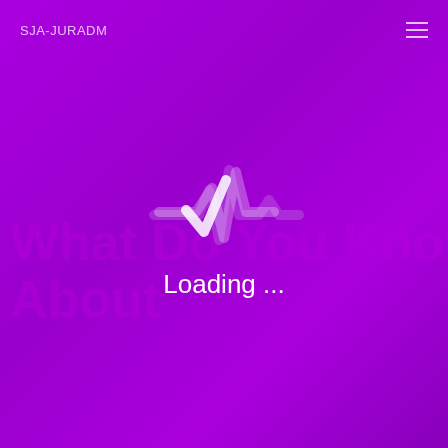SJA-JURADM
[Figure (logo): A stylized heartbeat/pulse waveform logo icon in white and light purple, resembling a vitals monitor trace with a checkmark shape]
What Do You Know About
Loading ...